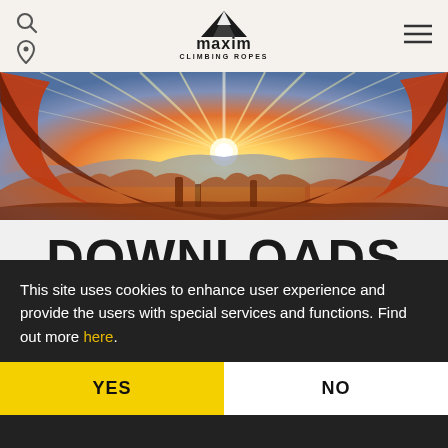maxim CLIMBING ROPES
[Figure (photo): Panoramic landscape photo showing a natural sandstone arch framing a dramatic desert sunrise with golden rays, red rock formations, and distant mesas]
DOWNLOADS
MAXIM Catalog 2022
This site uses cookies to enhance user experience and provide the users with special services and functions. Find out more here.